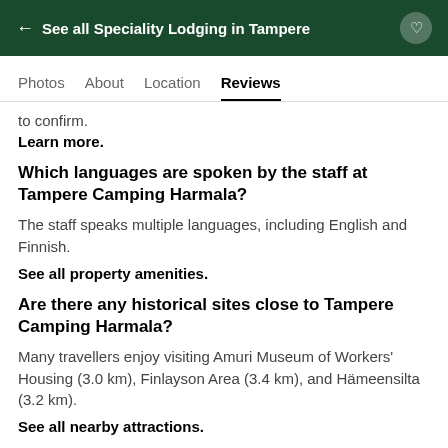← See all Speciality Lodging in Tampere
Photos   About   Location   Reviews
to confirm.
Learn more.
Which languages are spoken by the staff at Tampere Camping Harmala?
The staff speaks multiple languages, including English and Finnish.
See all property amenities.
Are there any historical sites close to Tampere Camping Harmala?
Many travellers enjoy visiting Amuri Museum of Workers' Housing (3.0 km), Finlayson Area (3.4 km), and Hämeensilta (3.2 km).
See all nearby attractions.
Want more?